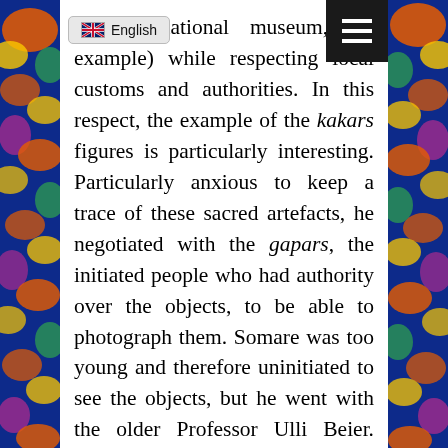[Figure (screenshot): Colorful decorative border on left and right sides of page with swirling blue, orange, yellow, green pattern]
or the national museum, for example) while respecting local customs and authorities. In this respect, the example of the kakars figures is particularly interesting. Particularly anxious to keep a trace of these sacred artefacts, he negotiated with the gapars, the initiated people who had authority over the objects, to be able to photograph them. Somare was too young and therefore uninitiated to see the objects, but he went with the older Professor Ulli Beier. Somare's account of this episode shows the